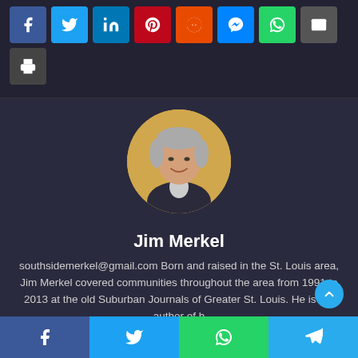[Figure (infographic): Row of social media share buttons: Facebook (blue), Twitter (light blue), LinkedIn (blue), Pinterest (red), Reddit (orange-red), Messenger (blue), WhatsApp (green), Email (gray), and a print button (dark gray)]
[Figure (photo): Circular profile photo of Jim Merkel, a middle-aged man with gray hair, smiling, wearing a dark sweater, against a blurred yellow-green background]
Jim Merkel
southsidemerkel@gmail.com Born and raised in the St. Louis area, Jim Merkel covered communities throughout the area from 1991 to 2013 at the old Suburban Journals of Greater St. Louis. He is the author of h
[Figure (infographic): Bottom fixed share bar with four buttons: Facebook (blue), Twitter (light blue), WhatsApp (green), Telegram (cyan)]